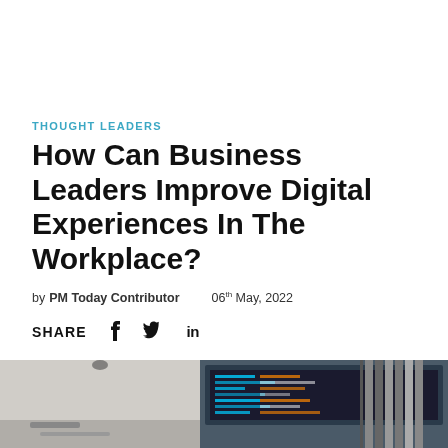THOUGHT LEADERS
How Can Business Leaders Improve Digital Experiences In The Workplace?
by PM Today Contributor   06th May, 2022
SHARE
[Figure (photo): Photo of a workplace desk with computer monitors showing code, partially visible at the bottom of the page]